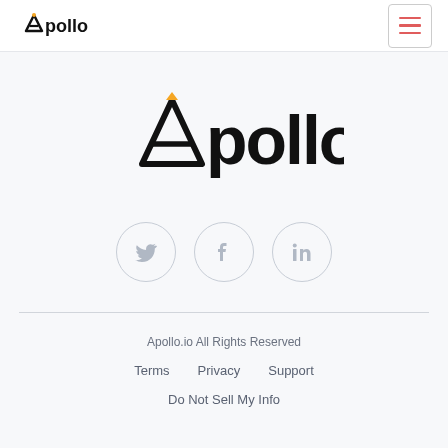[Figure (logo): Apollo logo in header - small, black text]
[Figure (logo): Apollo logo large centered on page with gold/yellow accent on the A lettermark]
[Figure (infographic): Three social media icon circles: Twitter bird, Facebook f, LinkedIn in]
Apollo.io All Rights Reserved
Terms   Privacy   Support
Do Not Sell My Info